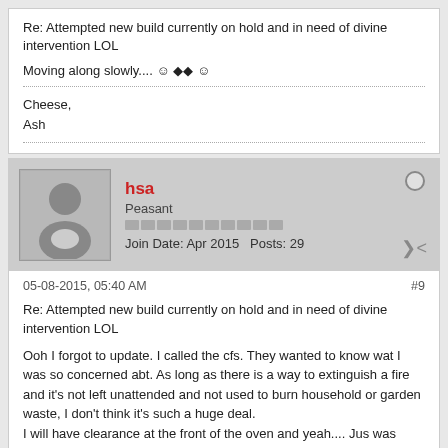Re: Attempted new build currently on hold and in need of divine intervention LOL
Moving along slowly.... ☺ ◆◆ ☺
Cheese,
Ash
hsa
Peasant
Join Date: Apr 2015   Posts: 29
05-08-2015, 05:40 AM
#9
Re: Attempted new build currently on hold and in need of divine intervention LOL
Ooh I forgot to update. I called the cfs. They wanted to know wat I was so concerned abt. As long as there is a way to extinguish a fire and it's not left unattended and not used to burn household or garden waste, I don't think it's such a huge deal.
I will have clearance at the front of the oven and yeah.... Jus was busy preparing a base for the build....